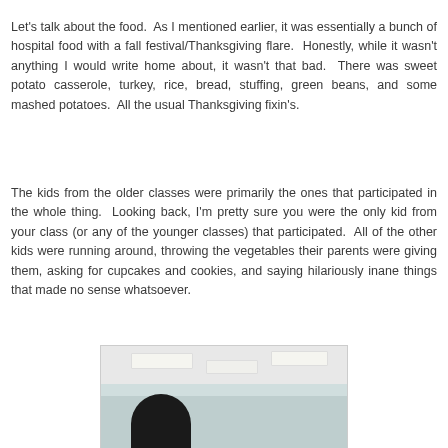Let's talk about the food.  As I mentioned earlier, it was essentially a bunch of hospital food with a fall festival/Thanksgiving flare.  Honestly, while it wasn't anything I would write home about, it wasn't that bad.  There was sweet potato casserole, turkey, rice, bread, stuffing, green beans, and some mashed potatoes.  All the usual Thanksgiving fixin's.
The kids from the older classes were primarily the ones that participated in the whole thing.  Looking back, I'm pretty sure you were the only kid from your class (or any of the younger classes) that participated.  All of the other kids were running around, throwing the vegetables their parents were giving them, asking for cupcakes and cookies, and saying hilariously inane things that made no sense whatsoever.
[Figure (photo): Indoor photo of what appears to be a school or cafeteria room with fluorescent ceiling lights. A dark-haired child silhouette is visible in the lower portion of the image. The room has light-colored walls and ceiling tiles.]